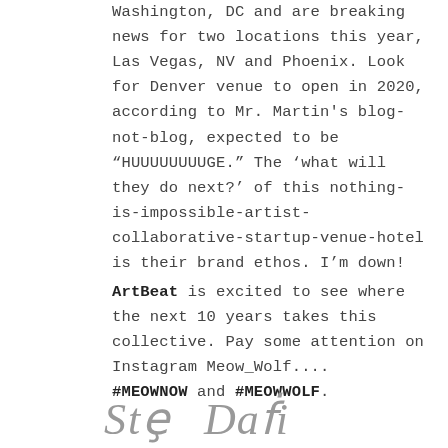Washington, DC and are breaking news for two locations this year, Las Vegas, NV and Phoenix. Look for Denver venue to open in 2020, according to Mr. Martin's blog-not-blog, expected to be “HUUUUUUUUGE.” The ‘what will they do next?’ of this nothing-is-impossible-artist-collaborative-startup-venue-hotel is their brand ethos. I’m down!
ArtBeat is excited to see where the next 10 years takes this collective. Pay some attention on Instagram Meow_Wolf.... #MEOWNOW and #MEOWWOLF.
[Figure (illustration): Handwritten cursive signature at the bottom of the page, partially visible]